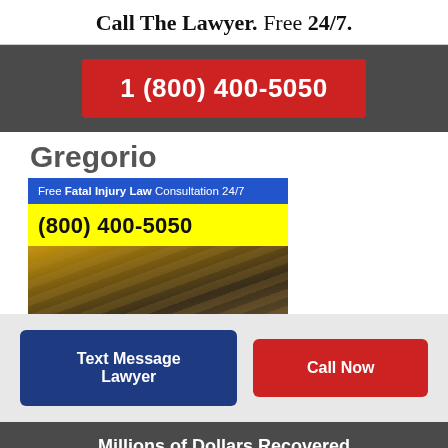Call The Lawyer. Free 24/7.
1 (800) 400-5050
Gregorio
[Figure (infographic): Ad banner with blue header 'Free Fatal Injury Law Consultation 24/7', yellow bar with phone number '(800) 400-5050', and a photo of legal books and scales of justice]
Text Message Lawyer
Call Now
Millions of Dollars Recovered